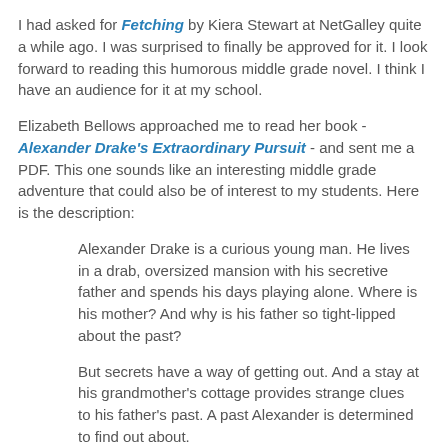I had asked for Fetching by Kiera Stewart at NetGalley quite a while ago. I was surprised to finally be approved for it. I look forward to reading this humorous middle grade novel. I think I have an audience for it at my school.
Elizabeth Bellows approached me to read her book - Alexander Drake's Extraordinary Pursuit - and sent me a PDF. This one sounds like an interesting middle grade adventure that could also be of interest to my students. Here is the description:
Alexander Drake is a curious young man. He lives in a drab, oversized mansion with his secretive father and spends his days playing alone. Where is his mother? And why is his father so tight-lipped about the past?
But secrets have a way of getting out. And a stay at his grandmother's cottage provides strange clues to his father's past. A past Alexander is determined to find out about.